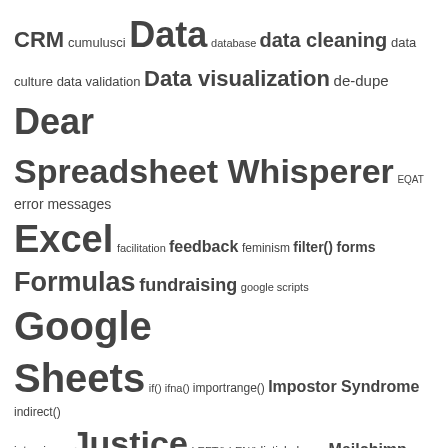[Figure (infographic): Word cloud containing terms related to data, spreadsheets, nonprofits, and social justice topics. Larger words indicate higher frequency. Terms include: CRM, cumulusci, Data, database, data cleaning, data culture, data validation, Data visualization, de-dupe, Dear Spreadsheet Whisperer, EQAT, error messages, Excel, facilitation, feedback, feminism, filter(), forms, Formulas, fundraising, google scripts, Google Sheets, if(), ifna(), importrange(), Impostor Syndrome, indirect(), interviews, Justice, LEFT(), LEN(), listicle, loops, Mailchimp, mailing list, Mail Merge, master's tools, match(), membership, mentorship, Metrics, mindsets, nationbuilder, npsp, openrefine, open source, phonebanking, Pivot Tables, poem, PROPER(), Public Health, puns, queer, racial equity, recruitment, relational database, reporting, reproductive justice, REPT(), resource roundup, RIGHT(), rows(), Salesforce, salesforce flow, self care, SEO, Single Source of Truth, snowfakery, social justice, Spreadsheets]